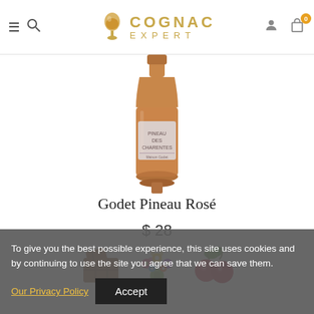Cognac Expert
[Figure (photo): Bottle of Godet Pineau Rosé with amber/rose-colored liquid and blue label]
Godet Pineau Rosé
$ 28
[Figure (photo): Three flavor icons: chocolate, wildflowers, and cherries]
To give you the best possible experience, this site uses cookies and by continuing to use the site you agree that we can save them. Our Privacy Policy  Accept